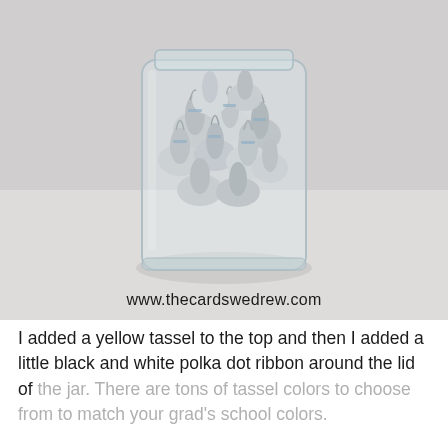[Figure (photo): A glass mason jar filled with silver-foil-wrapped Hershey's Kisses chocolates, photographed on a light gray/white surface. The website watermark 'www.thecardswedrew.com' appears at the bottom of the photo.]
I added a yellow tassel to the top and then I added a little black and white polka dot ribbon around the lid of the jar. There are tons of tassel colors to choose from to match your grad's school colors.